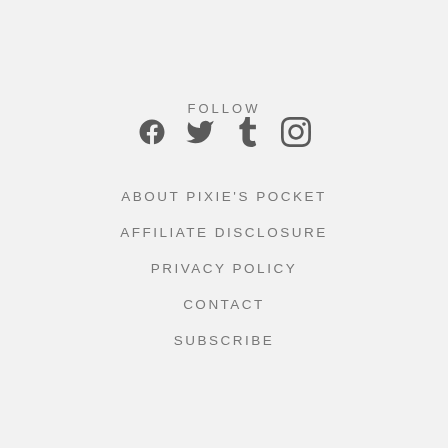FOLLOW
[Figure (other): Social media icons: Facebook, Twitter, Tumblr, Instagram]
ABOUT PIXIE'S POCKET
AFFILIATE DISCLOSURE
PRIVACY POLICY
CONTACT
SUBSCRIBE